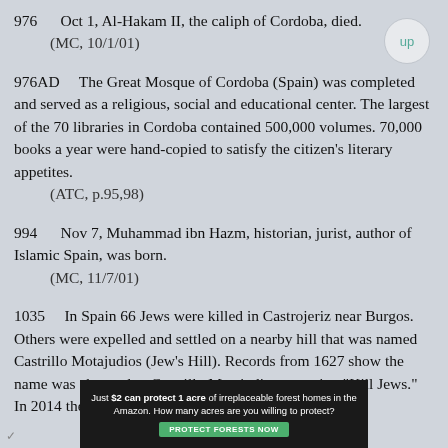976    Oct 1, Al-Hakam II, the caliph of Cordoba, died.
    (MC, 10/1/01)
976AD    The Great Mosque of Cordoba (Spain) was completed and served as a religious, social and educational center. The largest of the 70 libraries in Cordoba contained 500,000 volumes. 70,000 books a year were hand-copied to satisfy the citizen's literary appetites.
    (ATC, p.95,98)
994    Nov 7, Muhammad ibn Hazm, historian, jurist, author of Islamic Spain, was born.
    (MC, 11/7/01)
1035    In Spain 66 Jews were killed in Castrojeriz near Burgos. Others were expelled and settled on a nearby hill that was named Castrillo Motajudios (Jew's Hill). Records from 1627 show the name was changed to Castrillo Matajudios, meaning "Kill Jews." In 2014 the 56
[Figure (other): Advertisement banner: 'Just $2 can protect 1 acre of irreplaceable forest homes in the Amazon. How many acres are you willing to protect?' with a green 'PROTECT FORESTS NOW' button and a forest background image.]